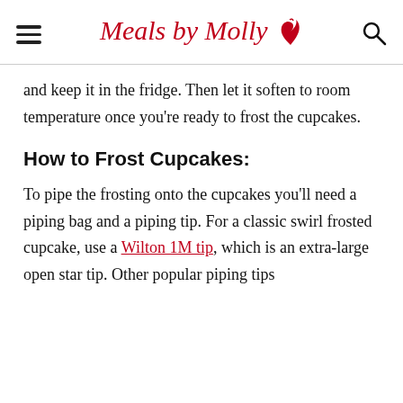Meals by Molly
and keep it in the fridge. Then let it soften to room temperature once you're ready to frost the cupcakes.
How to Frost Cupcakes:
To pipe the frosting onto the cupcakes you'll need a piping bag and a piping tip. For a classic swirl frosted cupcake, use a Wilton 1M tip, which is an extra-large open star tip. Other popular piping tips